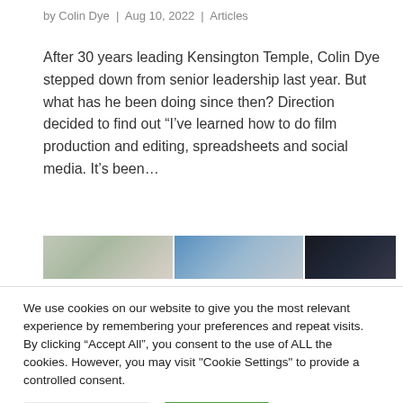by Colin Dye | Aug 10, 2022 | Articles
After 30 years leading Kensington Temple, Colin Dye stepped down from senior leadership last year. But what has he been doing since then? Direction decided to find out “I’ve learned how to do film production and editing, spreadsheets and social media. It’s been…
[Figure (photo): Three-panel image strip showing partial photographs: a light-toned outdoor/nature scene, a blue-toned scene, and a dark scene]
We use cookies on our website to give you the most relevant experience by remembering your preferences and repeat visits. By clicking “Accept All”, you consent to the use of ALL the cookies. However, you may visit "Cookie Settings" to provide a controlled consent.
Cookie Settings | Accept All